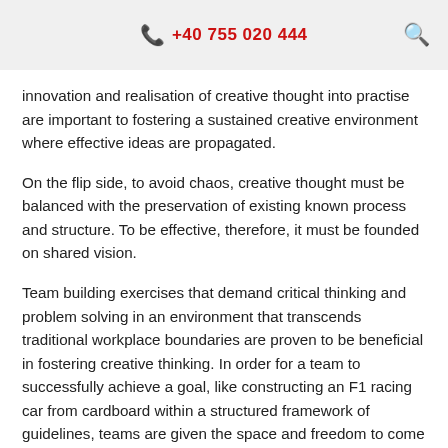+40 755 020 444
innovation and realisation of creative thought into practise are important to fostering a sustained creative environment where effective ideas are propagated.
On the flip side, to avoid chaos, creative thought must be balanced with the preservation of existing known process and structure. To be effective, therefore, it must be founded on shared vision.
Team building exercises that demand critical thinking and problem solving in an environment that transcends traditional workplace boundaries are proven to be beneficial in fostering creative thinking. In order for a team to successfully achieve a goal, like constructing an F1 racing car from cardboard within a structured framework of guidelines, teams are given the space and freedom to come up with novel ideas and solutions to questions and challenges to achieve their aim in the best way possible.